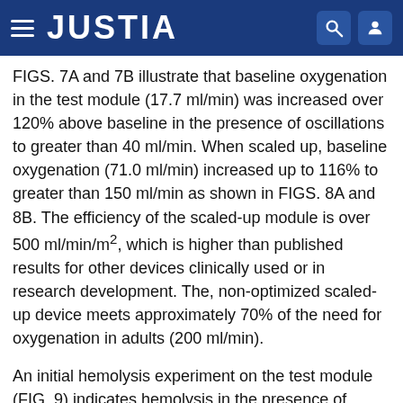JUSTIA
FIGS. 7A and 7B illustrate that baseline oxygenation in the test module (17.7 ml/min) was increased over 120% above baseline in the presence of oscillations to greater than 40 ml/min. When scaled up, baseline oxygenation (71.0 ml/min) increased up to 116% to greater than 150 ml/min as shown in FIGS. 8A and 8B. The efficiency of the scaled-up module is over 500 ml/min/m², which is higher than published results for other devices clinically used or in research development. The, non-optimized scaled-up device meets approximately 70% of the need for oxygenation in adults (200 ml/min).
An initial hemolysis experiment on the test module (FIG. 9) indicates hemolysis in the presence of oscillations under the conditions tested. Moderate hemolysis (0.067 g/100 L) is present as oscillations are created. This hemolysis is likely a result of mechanical components of